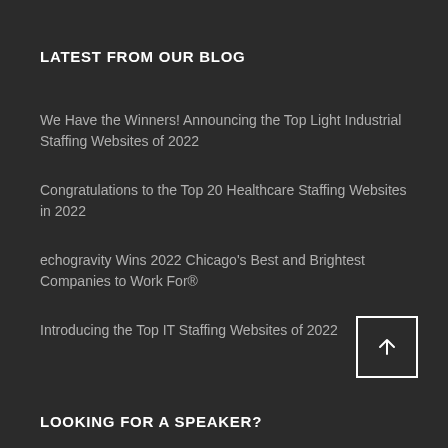LATEST FROM OUR BLOG
We Have the Winners! Announcing the Top Light Industrial Staffing Websites of 2022
Congratulations to the Top 20 Healthcare Staffing Websites in 2022
echogravity Wins 2022 Chicago's Best and Brightest Companies to Work For®
Introducing the Top IT Staffing Websites of 2022
LOOKING FOR A SPEAKER?